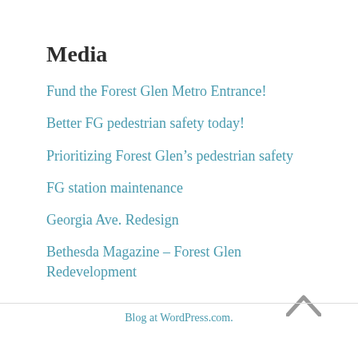Media
Fund the Forest Glen Metro Entrance!
Better FG pedestrian safety today!
Prioritizing Forest Glen's pedestrian safety
FG station maintenance
Georgia Ave. Redesign
Bethesda Magazine – Forest Glen Redevelopment
Blog at WordPress.com.